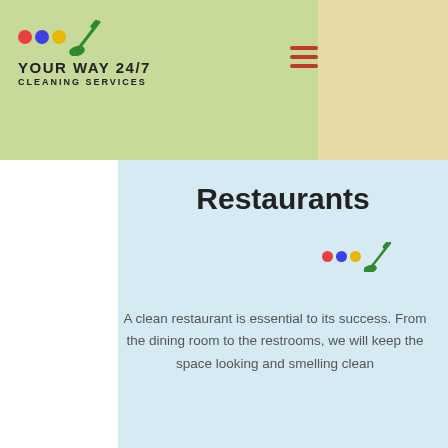[Figure (logo): Your Way 24/7 Cleaning Services logo with colored dots and broom icon on green background header]
Restaurants
[Figure (logo): Small Your Way 24/7 Cleaning Services logo with colored dots and broom icon]
A clean restaurant is essential to its success. From the dining room to the restrooms, we will keep the space looking and smelling clean
[Figure (photo): Blurred dark photo of restaurant interior with glasses and bottles on tables]